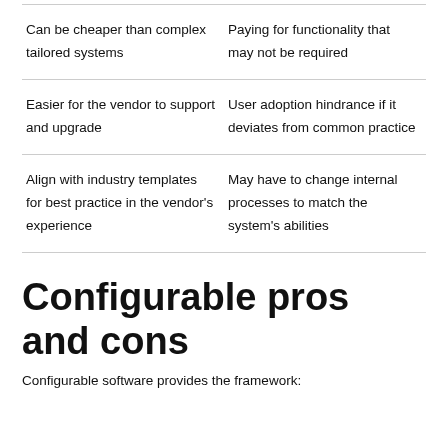| Can be cheaper than complex tailored systems | Paying for functionality that may not be required |
| Easier for the vendor to support and upgrade | User adoption hindrance if it deviates from common practice |
| Align with industry templates for best practice in the vendor's experience | May have to change internal processes to match the system's abilities |
Configurable pros and cons
Configurable software provides the framework: